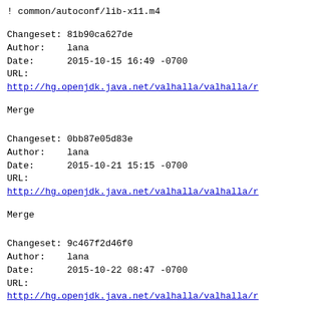! common/autoconf/lib-x11.m4
Changeset: 81b90ca627de
Author:    lana
Date:      2015-10-15 16:49 -0700
URL:       http://hg.openjdk.java.net/valhalla/valhalla/r
Merge
Changeset: 0bb87e05d83e
Author:    lana
Date:      2015-10-21 15:15 -0700
URL:       http://hg.openjdk.java.net/valhalla/valhalla/r
Merge
Changeset: 9c467f2d46f0
Author:    lana
Date:      2015-10-22 08:47 -0700
URL:       http://hg.openjdk.java.net/valhalla/valhalla/r
Added tag jdk9-b88 for changeset 0bb87e05d83e
! .hgtags
Changeset: c867c33f584b
Author:    jlahoda
Date:      2015-10-19 19:13 +0200